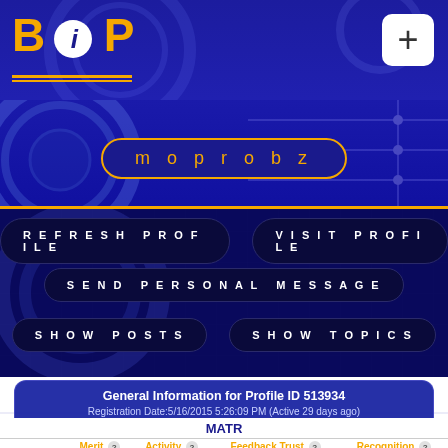[Figure (logo): BPiP logo with orange text, 'i' in white circle, orange underlines]
+
moprobz
REFRESH PROFILE
VISIT PROFILE
SEND PERSONAL MESSAGE
SHOW POSTS
SHOW TOPICS
General Information for Profile ID 513934
Registration Date:5/16/2015 5:26:09 PM (Active 29 days ago)
Last Parsed: 11 hours (Planned for 2 days from now)
|  | Merit ? | Activity ? | Feedback Trust ? | Recognition ? |
| --- | --- | --- | --- | --- |
| Score | 0 | 26 | 0 | 0.000 |
| Rank | >1000th | >1000th | >1000th | >1000th |